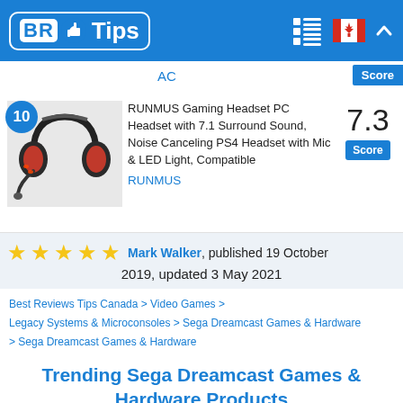BR Tips
AC
[Figure (photo): RUNMUS gaming headset product photo - black and red headset with microphone]
RUNMUS Gaming Headset PC Headset with 7.1 Surround Sound, Noise Canceling PS4 Headset with Mic & LED Light, Compatible
RUNMUS
7.3 Score
★★★★★ Mark Walker, published 19 October 2019, updated 3 May 2021
Best Reviews Tips Canada > Video Games > Legacy Systems & Microconsoles > Sega Dreamcast Games & Hardware > Sega Dreamcast Games & Hardware
Trending Sega Dreamcast Games & Hardware Products